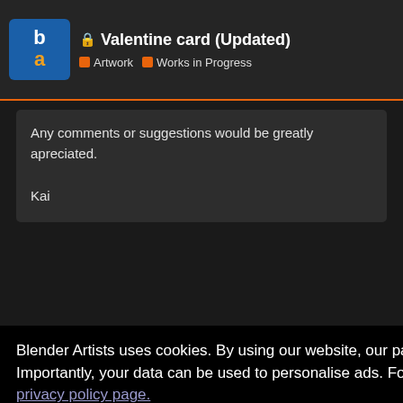Valentine card (Updated) — Artwork, Works in Progress
Any comments or suggestions would be greatly apreciated.

Kai
Blender Artists uses cookies. By using our website, our partners will also be able to collect some of your data. Importantly, your data can be used to personalise ads. For a detailed overview, please see our privacy policy page.
Got it!
Kai